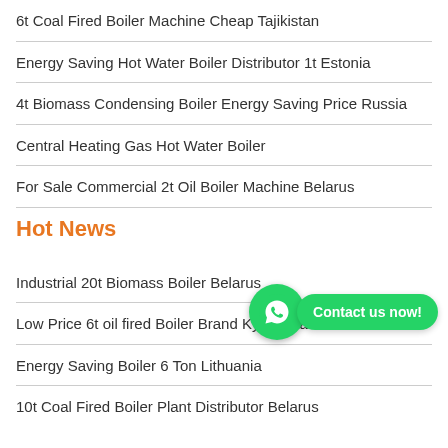6t Coal Fired Boiler Machine Cheap Tajikistan
Energy Saving Hot Water Boiler Distributor 1t Estonia
4t Biomass Condensing Boiler Energy Saving Price Russia
Central Heating Gas Hot Water Boiler
For Sale Commercial 2t Oil Boiler Machine Belarus
Hot News
Industrial 20t Biomass Boiler Belarus
Low Price 6t oil fired Boiler Brand Kyrgyzstan
Energy Saving Boiler 6 Ton Lithuania
10t Coal Fired Boiler Plant Distributor Belarus
[Figure (other): WhatsApp contact button overlay with green icon and 'Contact us now!' button]